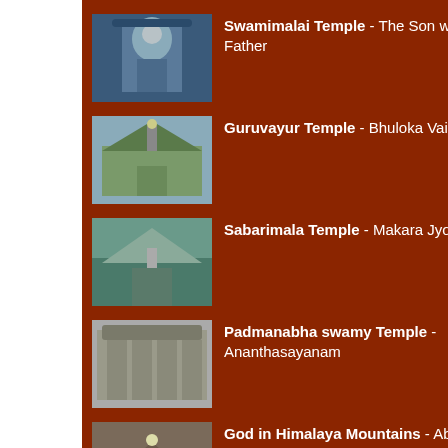Swamimalai Temple - The Son who taught his Father
Guruvayur Temple - Bhuloka Vaikunta
Sabarimala Temple - Makara Jyothi
Padmanabha swamy Temple - Ananthasayanam
God in Himalaya Mountains - Abode of Shiva and his consort Shakthi
Char Dham - Most revered 4 temples of Hindu Pilgrimage in Himalayas
Yamunotri -